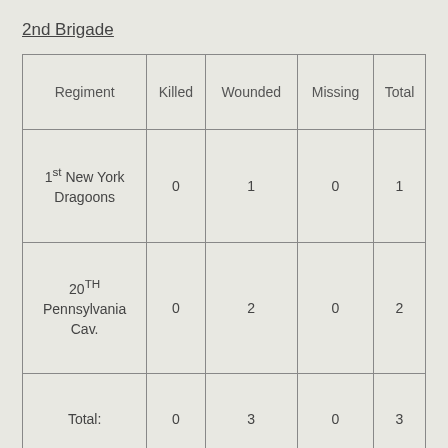2nd Brigade
| Regiment | Killed | Wounded | Missing | Total |
| --- | --- | --- | --- | --- |
| 1st New York Dragoons | 0 | 1 | 0 | 1 |
| 20th Pennsylvania Cav. | 0 | 2 | 0 | 2 |
| Total: | 0 | 3 | 0 | 3 |